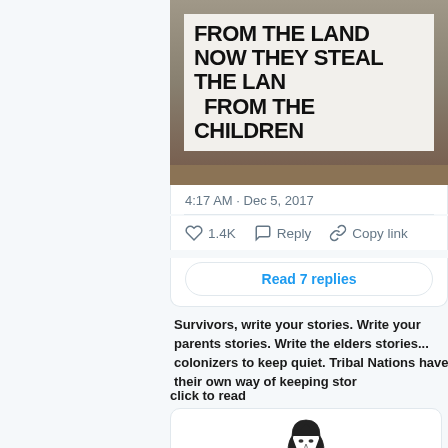[Figure (photo): Protest sign reading 'FROM THE LAND NOW THEY STEAL THE LAND FROM THE CHILDREN' in bold handwritten text on white board, resting on ground with dirt/rocks visible]
4:17 AM · Dec 5, 2017
1.4K  Reply  Copy link
Read 7 replies
Survivors, write your stories. Write your parents stories. Write the elders stories. colonizers to keep quiet. Tribal Nations have their own way of keeping stor
click to read
[Figure (illustration): Black and white sketch illustration of a person with long dark hair]